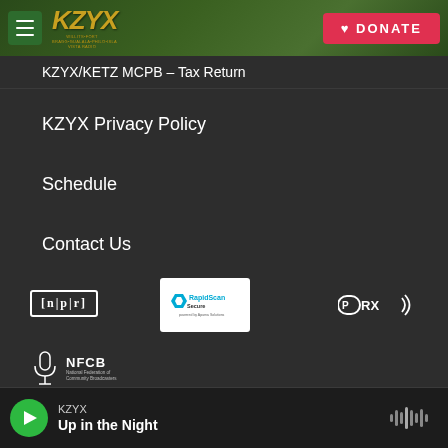[Figure (screenshot): KZYX radio station website header with hamburger menu, KZYX logo in gold, and red DONATE button on a forest background]
KZYX/KETZ MCPB – Tax Return
KZYX Privacy Policy
Schedule
Contact Us
[Figure (logo): NPR logo in white rectangle outline]
[Figure (logo): RapidScan Secure badge powered by Apama Solutions]
[Figure (logo): PRX logo in white]
[Figure (logo): NFCB National Federation of Community Broadcasters logo in white]
KZYX
Up in the Night